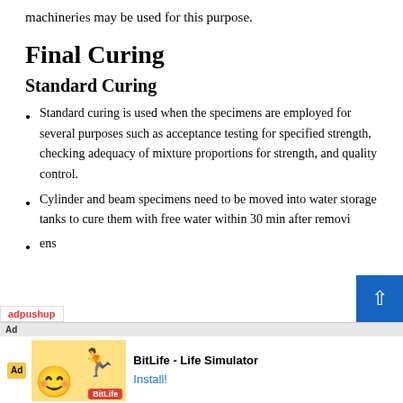machineries may be used for this purpose.
Final Curing
Standard Curing
Standard curing is used when the specimens are employed for several purposes such as acceptance testing for specified strength, checking adequacy of mixture proportions for strength, and quality control.
Cylinder and beam specimens need to be moved into water storage tanks to cure them with free water within 30 min after removi...
...ens
[Figure (other): Advertisement banner: adpushup ad for BitLife - Life Simulator with Install button. Contains Ad badge, cartoon emoji graphic, BitLife logo, and text 'BitLife - Life Simulator' with 'Install!' link.]